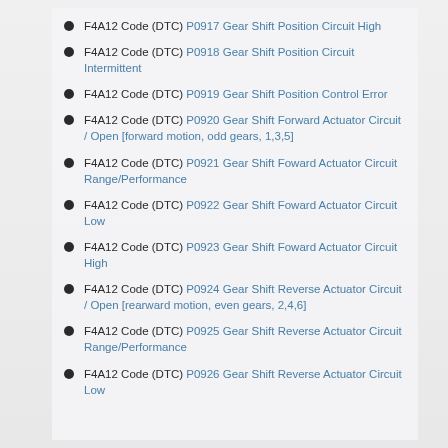F4A12 Code (DTC) P0917 Gear Shift Position Circuit High
F4A12 Code (DTC) P0918 Gear Shift Position Circuit Intermittent
F4A12 Code (DTC) P0919 Gear Shift Position Control Error
F4A12 Code (DTC) P0920 Gear Shift Forward Actuator Circuit / Open [forward motion, odd gears, 1,3,5]
F4A12 Code (DTC) P0921 Gear Shift Foward Actuator Circuit Range/Performance
F4A12 Code (DTC) P0922 Gear Shift Foward Actuator Circuit Low
F4A12 Code (DTC) P0923 Gear Shift Foward Actuator Circuit High
F4A12 Code (DTC) P0924 Gear Shift Reverse Actuator Circuit / Open [rearward motion, even gears, 2,4,6]
F4A12 Code (DTC) P0925 Gear Shift Reverse Actuator Circuit Range/Performance
F4A12 Code (DTC) P0926 Gear Shift Reverse Actuator Circuit Low